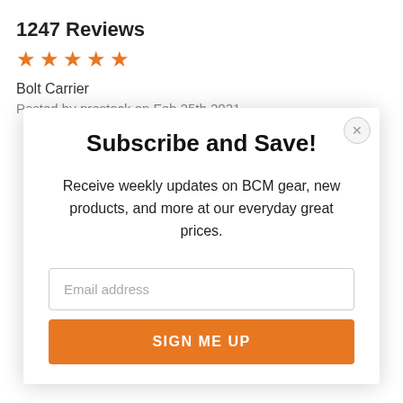1247 Reviews
[Figure (other): Five orange star rating icons]
Bolt Carrier
Posted by prestock on Feb 25th 2021
Subscribe and Save!
Receive weekly updates on BCM gear, new products, and more at our everyday great prices.
Email address
SIGN ME UP